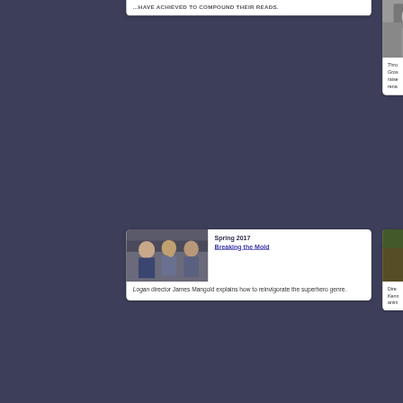...have achieved to compound their reads.
[Figure (photo): Partial photo visible in top-right card, black and white or muted tones, person visible]
Thro
Gros
raise
rena
Spring 2017
Breaking the Mold
[Figure (photo): Scene from Logan film: James Mangold with actors in a vehicle]
Logan director James Mangold explains how to reinvigorate the superhero genre.
Dire
Kenn
anim